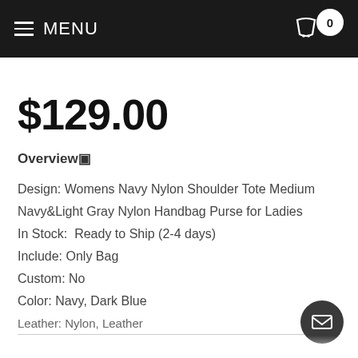MENU   🛒 0
$129.00
Overview▣
Design: Womens Navy Nylon Shoulder Tote Medium Navy&Light Gray Nylon Handbag Purse for Ladies
In Stock:  Ready to Ship (2-4 days)
Include: Only Bag
Custom: No
Color: Navy, Dark Blue
Leather: Nylon, Leather